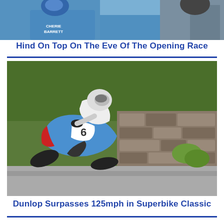[Figure (photo): Top cropped photo showing motorcycle racer in blue helmet and gear, with blue motorcycle, wearing a 'CHERIE BARRETT' branded suit]
Hind On Top On The Eve Of The Opening Race
[Figure (photo): Motorcycle racer on a blue, white and red bike (number 6) leaning hard into a corner at high speed, with a stone wall backdrop and green foliage, at a road race circuit]
Dunlop Surpasses 125mph in Superbike Classic